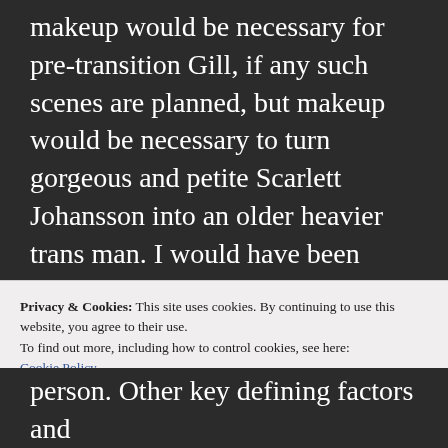makeup would be necessary for pre-transition Gill, if any such scenes are planned, but makeup would be necessary to turn gorgeous and petite Scarlett Johansson into an older heavier trans man. I would have been accepting of two actors playing Gill, pre and post transition, but even this runs into problems of asserting that pre and post transition are two different people and identities when, for many trans folks, the perception that gender transition changes who they are as a person. Other key defining factors and
Privacy & Cookies: This site uses cookies. By continuing to use this website, you agree to their use.
To find out more, including how to control cookies, see here: Cookie Policy